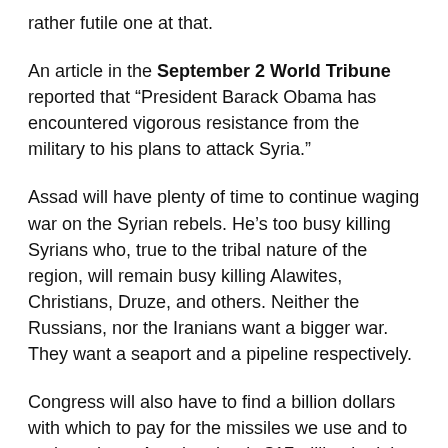rather futile one at that.
An article in the September 2 World Tribune reported that “President Barack Obama has encountered vigorous resistance from the military to his plans to attack Syria.”
Assad will have plenty of time to continue waging war on the Syrian rebels. He’s too busy killing Syrians who, true to the tribal nature of the region, will remain busy killing Alawites, Christians, Druze, and others. Neither the Russians, nor the Iranians want a bigger war. They want a seaport and a pipeline respectively.
Congress will also have to find a billion dollars with which to pay for the missiles we use and to replace them. A nation that is $17 trillion in debt doesn’t have the money to wage a war. A short, symbolic slap will have to suffice.
There will be no “boots on the ground.” Our army is worn out by more than a decade of fighting in Afghanistan and Iraq. Our air force is flying a lot of old planes. Our navy has been reduced to less vessels than are needed in a dangerous